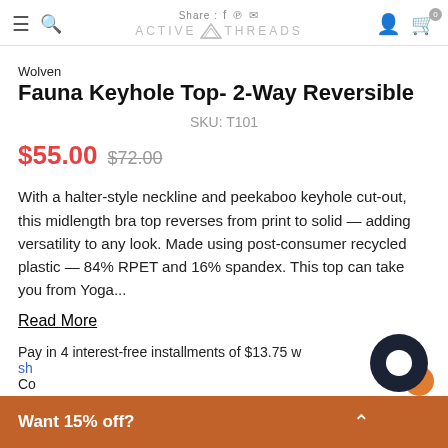Share: Active Threads [navigation bar with hamburger, search, user, cart icons]
Wolven
Fauna Keyhole Top- 2-Way Reversible
SKU: T101
$55.00 $72.00
With a halter-style neckline and peekaboo keyhole cut-out, this midlength bra top reverses from print to solid — adding versatility to any look. Made using post-consumer recycled plastic — 84% RPET and 16% spandex. This top can take you from Yoga...
Read More
Pay in 4 interest-free installments of $13.75 w
sh
Co
Want 15% off?